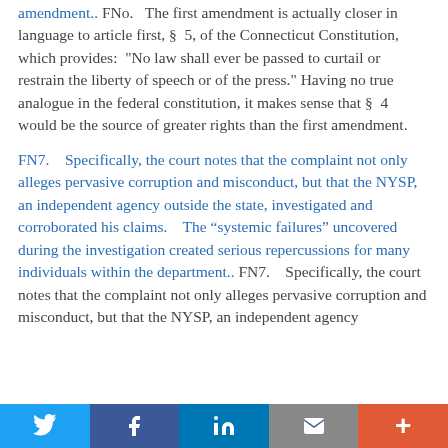amendment.. FNo.   The first amendment is actually closer in language to article first, §  5, of the Connecticut Constitution, which provides:  "No law shall ever be passed to curtail or restrain the liberty of speech or of the press."  Having no true analogue in the federal constitution, it makes sense that §  4 would be the source of greater rights than the first amendment.
FN7.    Specifically, the court notes that the complaint not only alleges pervasive corruption and misconduct, but that the NYSP, an independent agency outside the state, investigated and corroborated his claims.    The “systemic failures” uncovered during the investigation created serious repercussions for many individuals within the department.. FN7.    Specifically, the court notes that the complaint not only alleges pervasive corruption and misconduct, but that the NYSP, an independent agency
Twitter | Facebook | LinkedIn | Email | More